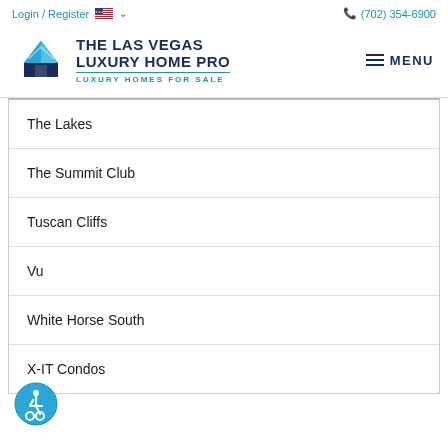Login / Register  (702) 354-6900
[Figure (logo): The Las Vegas Luxury Home Pro logo with house icon and tagline 'Luxury Homes For Sale']
The Lakes
The Summit Club
Tuscan Cliffs
Vu
White Horse South
X-IT Condos
[Figure (illustration): Accessibility icon button (wheelchair symbol in blue circle)]